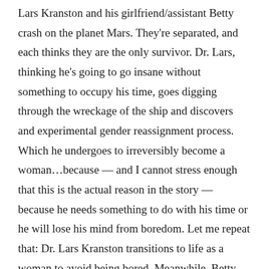Lars Kranston and his girlfriend/assistant Betty crash on the planet Mars. They're separated, and each thinks they are the only survivor. Dr. Lars, thinking he's going to go insane without something to occupy his time, goes digging through the wreckage of the ship and discovers and experimental gender reassignment process. Which he undergoes to irreversibly become a woman…because — and I cannot stress enough that this is the actual reason in the story — because he needs something to do with his time or he will lose his mind from boredom. Let me repeat that: Dr. Lars Kranston transitions to life as a woman to avoid being bored. Meanwhile, Betty fights her way through the hostile terrain of this inhospitable desert planet to get back to the ship only to discover that her lover became a woman instead of